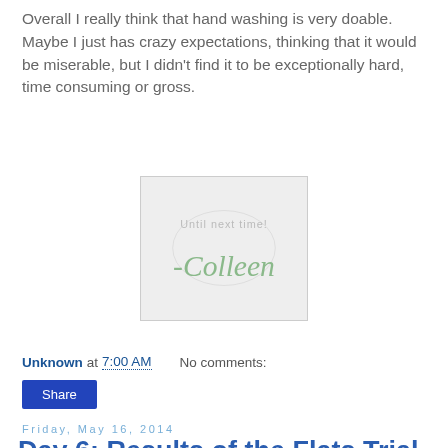Overall I really think that hand washing is very doable. Maybe I just has crazy expectations, thinking that it would be miserable, but I didn't find it to be exceptionally hard, time consuming or gross.
[Figure (illustration): Signature image with text 'Until next time! -Colleen' in cursive on a light gray background]
Unknown at 7:00 AM   No comments:
Share
Friday, May 16, 2014
Day 6: Results of the Flats Trial
Today is Day 5 of the Flats and Handwashing challenge and an open topic blog day.  When the Challenge was announced a few months ago I knew that this was not only a perfect opportunity to see if I could handle the hand washing but also a perfect time to do my diaper trial on different kinds